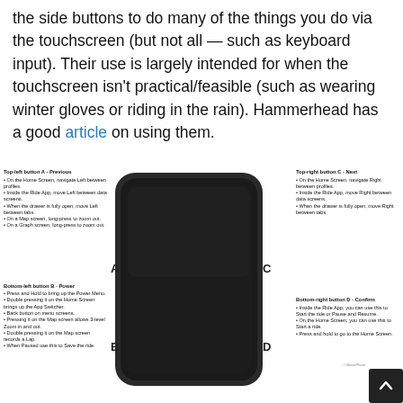the side buttons to do many of the things you do via the touchscreen (but not all — such as keyboard input). Their use is largely intended for when the touchscreen isn't practical/feasible (such as wearing winter gloves or riding in the rain). Hammerhead has a good article on using them.
[Figure (photo): Diagram of a Hammerhead Karoo cycling computer device showing four side buttons labeled A (top-left), B (bottom-left), C (top-right), D (bottom-right) with text descriptions of each button's function surrounding the device image.]